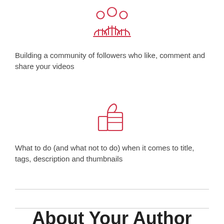[Figure (illustration): Red outline icon of a group of people / community]
Building a community of followers who like, comment and share your videos
[Figure (illustration): Red outline thumbs up / like icon]
What to do (and what not to do) when it comes to title, tags, description and thumbnails
About Your Author